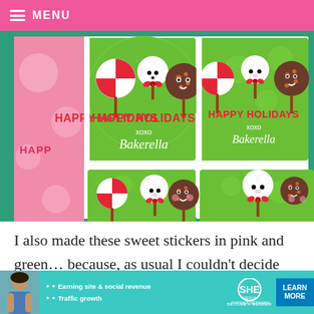≡ MENU
[Figure (photo): A close-up photo of a sheet of holiday stickers featuring polar bear cake pops, peppermint lollipops, and chocolate cake pops on green circular stickers with 'HAPPY HOLIDAYS xoxo Bakerella' text. Pink stickers are partially visible on the left.]
I also made these sweet stickers in pink and green… because, as usual I couldn't decide on just one color to stick with.
[Figure (infographic): Advertisement banner for SHE Partner Network featuring a woman, bullet points 'Earning site & social revenue' and 'Traffic growth', the SHE logo, and a 'LEARN MORE' button with 'BECOME A MEMBER' text.]